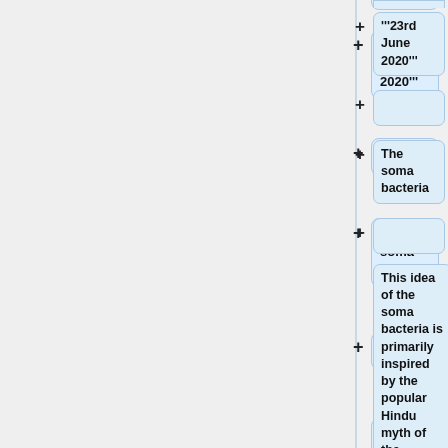'''23rd June 2020'''
The soma bacteria
This idea of the soma bacteria is primarily inspired by the popular Hindu myth of the samudra manthan , commonly known as “the churning of the ocean”.